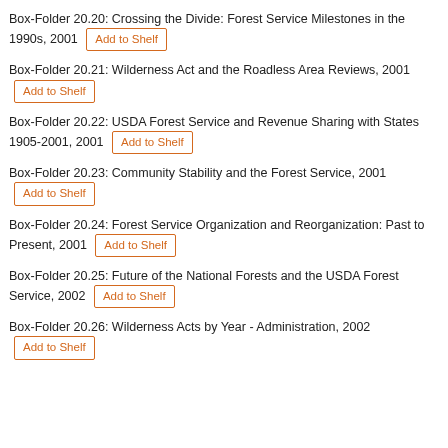Box-Folder 20.20: Crossing the Divide: Forest Service Milestones in the 1990s, 2001 [Add to Shelf]
Box-Folder 20.21: Wilderness Act and the Roadless Area Reviews, 2001 [Add to Shelf]
Box-Folder 20.22: USDA Forest Service and Revenue Sharing with States 1905-2001, 2001 [Add to Shelf]
Box-Folder 20.23: Community Stability and the Forest Service, 2001 [Add to Shelf]
Box-Folder 20.24: Forest Service Organization and Reorganization: Past to Present, 2001 [Add to Shelf]
Box-Folder 20.25: Future of the National Forests and the USDA Forest Service, 2002 [Add to Shelf]
Box-Folder 20.26: Wilderness Acts by Year - Administration, 2002 [Add to Shelf]